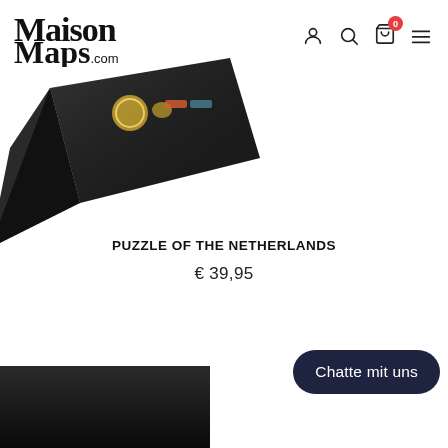Maison Maps .com — navigation icons: user, search, cart (0), menu
[Figure (photo): Puzzle box with black background, partially visible, showing a puzzle product of the Netherlands, tilted at an angle]
PUZZLE OF THE NETHERLANDS
€ 39,95
[Figure (photo): Bottom portion of another product/puzzle box, dark colored, partially visible at bottom of page]
Chatte mit uns